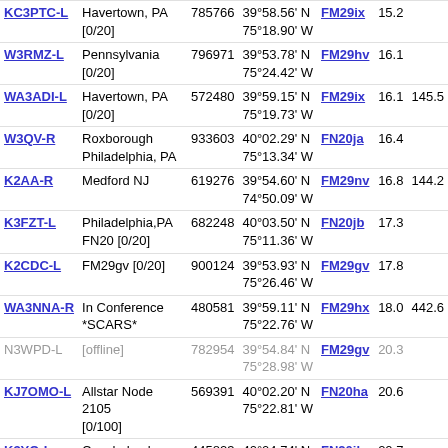| Callsign | Location | Node | Coordinates | Grid | Dist | Freq |
| --- | --- | --- | --- | --- | --- | --- |
| KC3PTC-L | Havertown, PA [0/20] | 785766 | 39°58.56' N 75°18.90' W | FM29ix | 15.2 |  |
| W3RMZ-L | Pennsylvania [0/20] | 796971 | 39°53.78' N 75°24.42' W | FM29hv | 16.1 |  |
| WA3ADI-L | Havertown, PA [0/20] | 572480 | 39°59.15' N 75°19.73' W | FM29ix | 16.1 | 145.5 |
| W3QV-R | Roxborough Philadelphia, PA | 933603 | 40°02.29' N 75°13.34' W | FN20ja | 16.4 |  |
| K2AA-R | Medford NJ | 619276 | 39°54.60' N 74°50.09' W | FM29nv | 16.8 | 144.2 |
| K3FZT-L | Philadelphia,PA FN20 [0/20] | 682248 | 40°03.50' N 75°11.36' W | FN20jb | 17.3 |  |
| K2CDC-L | FM29gv [0/20] | 900124 | 39°53.93' N 75°26.46' W | FM29gv | 17.8 |  |
| WA3NNA-R | In Conference *SCARS* | 480581 | 39°59.11' N 75°22.76' W | FM29hx | 18.0 | 442.6 |
| N3WPD-L [offline] | [offline] | 782954 | 39°54.84' N 75°28.98' W | FM29gv | 20.3 |  |
| KJ7OMO-L | Allstar Node 2105 [0/100] | 569391 | 40°02.20' N 75°22.81' W | FN20ha | 20.6 |  |
| K3YO-L | Conshohocken, PA [0/20] | 445823 | 40°04.74' N 75°18.06' W | FN20ib | 20.7 |  |
| N2KEJ-R | 6 FM Network [0/30] | 8888 | 39°33.24' N 75°24.02' W | FM29hn | 23.1 |  |
| W3GUY-L | Pennsylvania [0/20] | 769649 | 39°47.03' N 75°45.15' W | FM29cs | 33.4 |  |